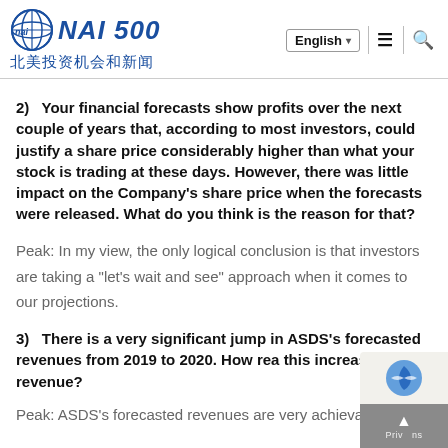NAI 500 北美投资机会和新闻
2)   Your financial forecasts show profits over the next couple of years that, according to most investors, could justify a share price considerably higher than what your stock is trading at these days. However, there was little impact on the Company's share price when the forecasts were released. What do you think is the reason for that?
Peak: In my view, the only logical conclusion is that investors are taking a "let's wait and see" approach when it comes to our projections.
3)   There is a very significant jump in ASDS's forecasted revenues from 2019 to 2020. How rea this increase in revenue?
Peak: ASDS's forecasted revenues are very achievable. The